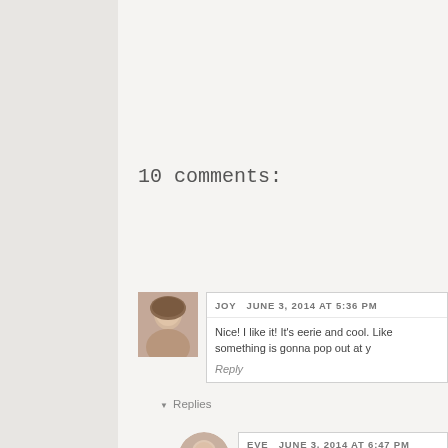10 comments:
JOY  JUNE 3, 2014 AT 5:36 PM
Nice! I like it! It's eerie and cool. Like something is gonna pop out at y
Reply
▼  Replies
EVE  JUNE 3, 2014 AT 6:47 PM
Thank you Joy. :) I didn't want to stick to just one subject li bits and pieces of different genres so no one will know wha
Reply
CINDY  JUNE 3, 2014 AT 6:26 PM
Oh my. This is too beautiful. :)